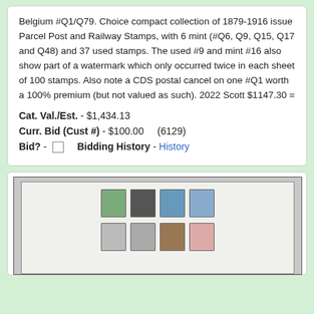Belgium #Q1/Q79. Choice compact collection of 1879-1916 issue Parcel Post and Railway Stamps, with 6 mint (#Q6, Q9, Q15, Q17 and Q48) and 37 used stamps. The used #9 and mint #16 also show part of a watermark which only occurred twice in each sheet of 100 stamps. Also note a CDS postal cancel on one #Q1 worth a 100% premium (but not valued as such). 2022 Scott $1147.30 =
Cat. Val./Est. - $1,434.13
Curr. Bid (Cust #) - $100.00   (6129)
Bid? -   Bidding History - History
[Figure (photo): Photograph of a stamp collection page showing Belgium Parcel Post and Railway stamps, including green, dark, blue, and light blue stamps in the top row, and gray, gray, brown, and pink stamps in the bottom row, mounted on a white album page with dark border.]